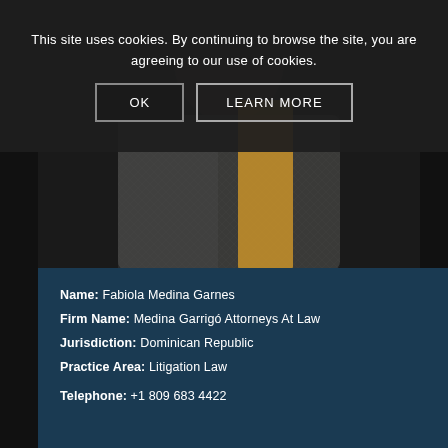This site uses cookies. By continuing to browse the site, you are agreeing to our use of cookies.
OK
LEARN MORE
[Figure (photo): Close-up photo of a person wearing a grey/white patterned blazer or jacket, with a yellow/gold element visible in the background or lapel area. The background is dark. This appears to be a professional attorney headshot.]
Name: Fabiola Medina Garnes
Firm Name: Medina Garrigó Attorneys At Law
Jurisdiction: Dominican Republic
Practice Area: Litigation Law
Telephone: +1 809 683 4422